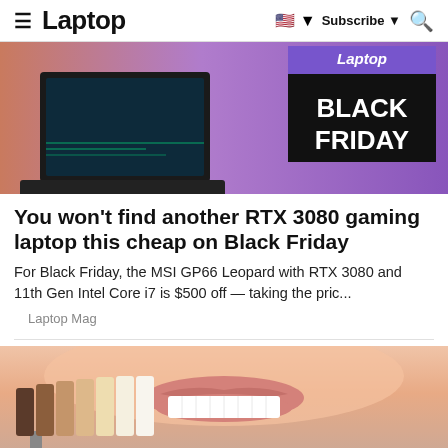≡ Laptop | 🇺🇸 ▼ Subscribe ▼ 🔍
[Figure (photo): Gaming laptop on gradient orange-purple background with 'Laptop BLACK FRIDAY' badge overlay]
You won't find another RTX 3080 gaming laptop this cheap on Black Friday
For Black Friday, the MSI GP66 Leopard with RTX 3080 and 11th Gen Intel Core i7 is $500 off — taking the pric...
Laptop Mag
[Figure (photo): Close-up photo of a person smiling with white teeth, with dental shade guide swatches held up next to teeth]